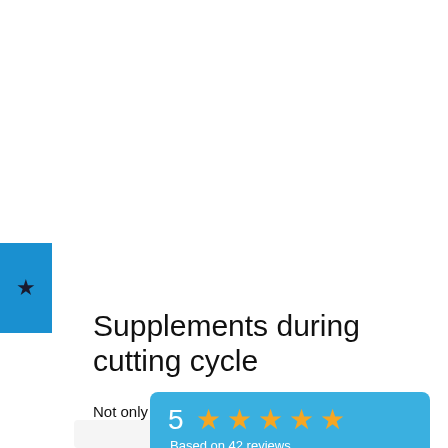[Figure (other): Blue tab with a black star icon on the left side of the page]
Supplements during cutting cycle
Not only can you use it alone in order to feel better as a whole, but you can also pair injectable…
[Figure (infographic): Rating overlay: 5 stars with text 'Based on 42 reviews' on a blue background]